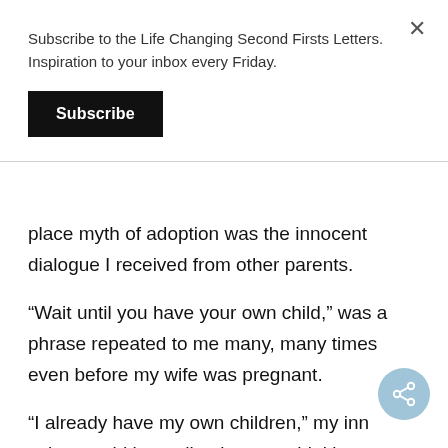Subscribe to the Life Changing Second Firsts Letters. Inspiration to your inbox every Friday.
Subscribe
place myth of adoption was the innocent dialogue I received from other parents.
“Wait until you have your own child,” was a phrase repeated to me many, many times even before my wife was pregnant.
“I already have my own children,” my inner voice would immediately react, thinking of my two adopted sons.